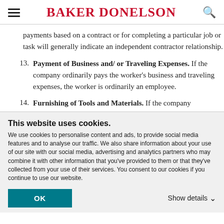BAKER DONELSON
payments based on a contract or for completing a particular job or task will generally indicate an independent contractor relationship.
13. Payment of Business and/ or Traveling Expenses. If the company ordinarily pays the worker's business and traveling expenses, the worker is ordinarily an employee.
14. Furnishing of Tools and Materials. If the company
This website uses cookies.
We use cookies to personalise content and ads, to provide social media features and to analyse our traffic. We also share information about your use of our site with our social media, advertising and analytics partners who may combine it with other information that you've provided to them or that they've collected from your use of their services. You consent to our cookies if you continue to use our website.
OK    Show details